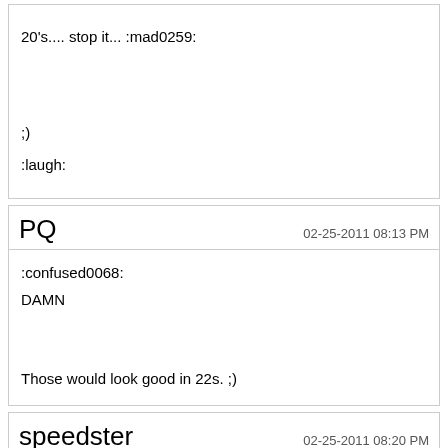20's.... stop it... :mad0259:

;)

:laugh:
PQ
02-25-2011 08:13 PM

:confused0068:

DAMN

Those would look good in 22s. ;)
speedster
02-25-2011 08:20 PM

Quote: